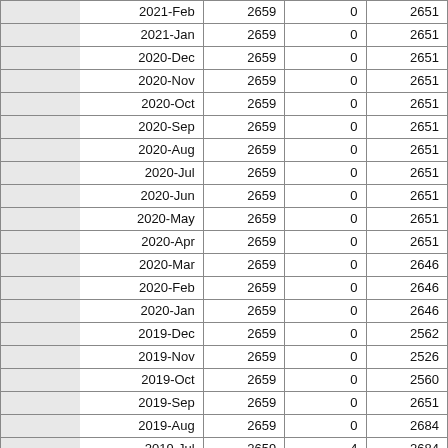| Date | Col1 | Col2 | Col3 |
| --- | --- | --- | --- |
| 2021-Feb | 2659 | 0 | 2651 |
| 2021-Jan | 2659 | 0 | 2651 |
| 2020-Dec | 2659 | 0 | 2651 |
| 2020-Nov | 2659 | 0 | 2651 |
| 2020-Oct | 2659 | 0 | 2651 |
| 2020-Sep | 2659 | 0 | 2651 |
| 2020-Aug | 2659 | 0 | 2651 |
| 2020-Jul | 2659 | 0 | 2651 |
| 2020-Jun | 2659 | 0 | 2651 |
| 2020-May | 2659 | 0 | 2651 |
| 2020-Apr | 2659 | 0 | 2651 |
| 2020-Mar | 2659 | 0 | 2646 |
| 2020-Feb | 2659 | 0 | 2646 |
| 2020-Jan | 2659 | 0 | 2646 |
| 2019-Dec | 2659 | 0 | 2562 |
| 2019-Nov | 2659 | 0 | 2526 |
| 2019-Oct | 2659 | 0 | 2560 |
| 2019-Sep | 2659 | 0 | 2651 |
| 2019-Aug | 2659 | 0 | 2684 |
| 2019-Jul | 2659 | 4 | 2684 |
| 2019-Jun | 2656 | 0 | 2679 |
| 2019-May | 2656 | 0 | 2679 |
| 2019-Apr | 2656 | 0 | 2679 |
| 2019-Mar | 2656 | 0 | 2679 |